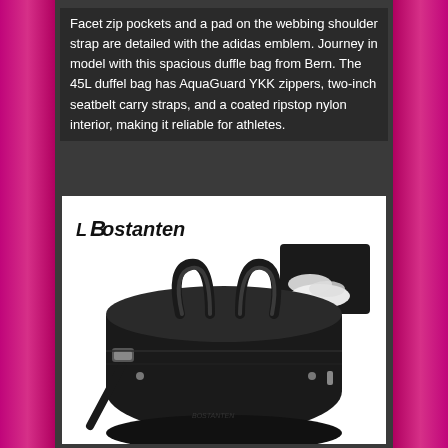Facet zip pockets and a pad on the webbing shoulder strap are detailed with the adidas emblem. Journey in model with this spacious duffle bag from Bern. The 45L duffel bag has AquaGuard YKK zippers, two-inch seatbelt carry straps, and a coated ripstop nylon interior, making it reliable for athletes.
[Figure (photo): Product photo of a Bostanten black leather duffle bag with top handles and a shoulder strap, shown against a white background with a small inset image showing a shoe compartment]